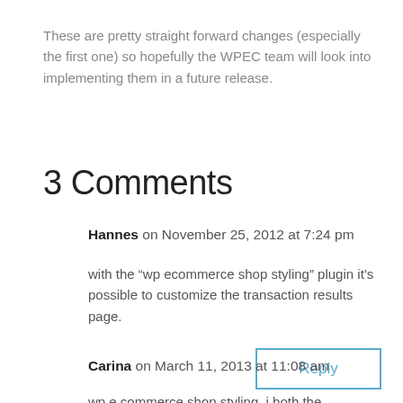These are pretty straight forward changes (especially the first one) so hopefully the WPEC team will look into implementing them in a future release.
3 Comments
Hannes on November 25, 2012 at 7:24 pm
with the “wp ecommerce shop styling” plugin it’s possible to customize the transaction results page.
Reply
Carina on March 11, 2013 at 11:08 am
wp e commerce shop styling, i both the